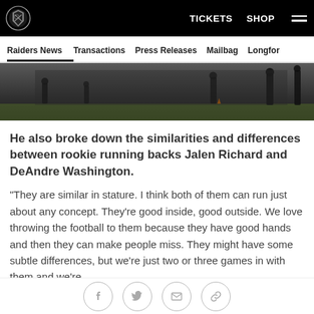Raiders — TICKETS  SHOP  ☰
Raiders News   Transactions   Press Releases   Mailbag   Longform
[Figure (photo): Football practice field with players silhouetted in background, dark/gray toned image]
He also broke down the similarities and differences between rookie running backs Jalen Richard and DeAndre Washington.
"They are similar in stature. I think both of them can run just about any concept. They're good inside, good outside. We love throwing the football to them because they have good hands and then they can make people miss. They might have some subtle differences, but we're just two or three games in with them and we're